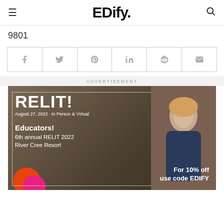EDify.
9801
[Figure (other): Social sharing bar with icons for Facebook, Twitter, Pinterest, LinkedIn, Reddit, and Email]
ADVERTISEMENT
[Figure (photo): RELIT! advertisement. August 27, 2022 - In Person & Virtual. Educators! 6th annual RELIT 2022 River Cree Resort. For 10% off use code EDIFY. Features a woman in a blue dress smiling, with colorful circle decorations.]